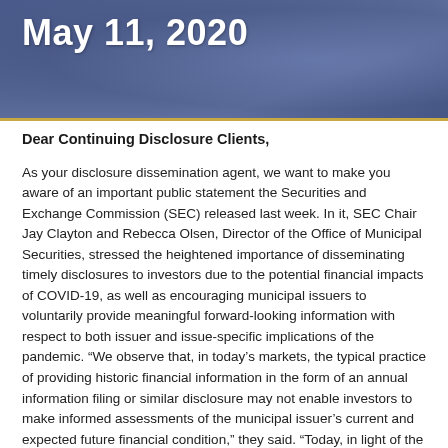May 11, 2020
Dear Continuing Disclosure Clients,
As your disclosure dissemination agent, we want to make you aware of an important public statement the Securities and Exchange Commission (SEC) released last week. In it, SEC Chair Jay Clayton and Rebecca Olsen, Director of the Office of Municipal Securities, stressed the heightened importance of disseminating timely disclosures to investors due to the potential financial impacts of COVID-19, as well as encouraging municipal issuers to voluntarily provide meaningful forward-looking information with respect to both issuer and issue-specific implications of the pandemic. “We observe that, in today’s markets, the typical practice of providing historic financial information in the form of an annual information filing or similar disclosure may not enable investors to make informed assessments of the municipal issuer’s current and expected future financial condition,” they said. “Today, in light of the potentially significant effects